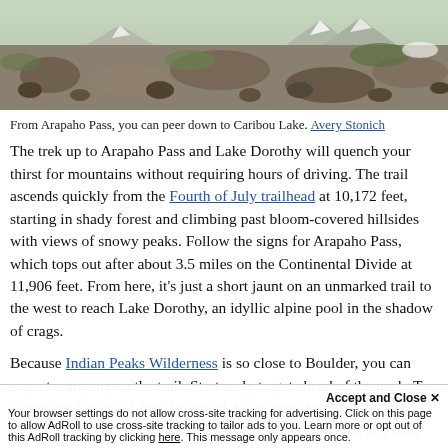[Figure (photo): Rocky mountain hillside with scattered boulders and patches of snow, viewed from Arapaho Pass looking down toward Caribou Lake.]
From Arapaho Pass, you can peer down to Caribou Lake. Avery Stonich
The trek up to Arapaho Pass and Lake Dorothy will quench your thirst for mountains without requiring hours of driving. The trail ascends quickly from the Fourth of July trailhead at 10,172 feet, starting in shady forest and climbing past bloom-covered hillsides with views of snowy peaks. Follow the signs for Arapaho Pass, which tops out after about 3.5 miles on the Continental Divide at 11,906 feet. From here, it’s just a short jaunt on an unmarked trail to the west to reach Lake Dorothy, an idyllic alpine pool in the shadow of crags.
Because Indian Peaks Wilderness is so close to Boulder, you can expect company on the trail. Start early to get ahead of the pack. To access the Fourth of July Trailhead, head south from Nederland on CO 119, then turn right on County Road 130. Follow the dirt road until you reach the trailhead.
Your browser settings do not allow cross-site tracking for advertising. Click on this page to allow AdRoll to use cross-site tracking to tailor ads to you. Learn more or opt out of this AdRoll tracking by clicking here. This message only appears once.